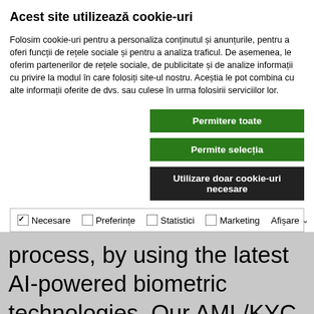Acest site utilizează cookie-uri
Folosim cookie-uri pentru a personaliza conținutul și anunțurile, pentru a oferi funcții de rețele sociale și pentru a analiza traficul. De asemenea, le oferim partenerilor de rețele sociale, de publicitate și de analize informații cu privire la modul în care folosiți site-ul nostru. Aceștia le pot combina cu alte informații oferite de dvs. sau culese în urma folosirii serviciilor lor.
Permitere toate
Permite selecția
Utilizare doar cookie-uri necesare
Necesare   Preferințe   Statistici   Marketing   Afișare
process, by using the latest AI-powered biometric technologies. Our AML/KYC compliance software provides fast and accurate customer identity verification, reduces fraud, and saves you money.